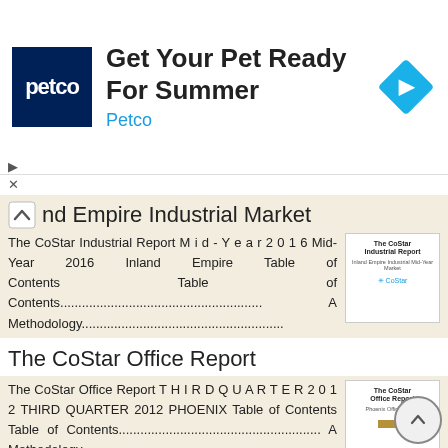[Figure (screenshot): Petco advertisement banner: blue square logo with 'petco' text, headline 'Get Your Pet Ready For Summer', subtext 'Petco', and a blue diamond arrow icon on the right.]
nd Empire Industrial Market
The CoStar Industrial Report M i d - Y e a r 2 0 1 6 Mid-Year 2016 Inland Empire Table of Contents                    Table                    of Contents........................................................ A Methodology........................................................
[Figure (photo): Thumbnail of The CoStar Industrial Report cover page with CoStar logo.]
More information →
The CoStar Office Report
The CoStar Office Report T H I R D Q U A R T E R 2 0 1 2 THIRD QUARTER 2012 PHOENIX Table of Contents Table of Contents........................................................ A Methodology........................................................
[Figure (photo): Thumbnail of The CoStar Office Report cover page with CoStar logo and yellow/gold bar.]